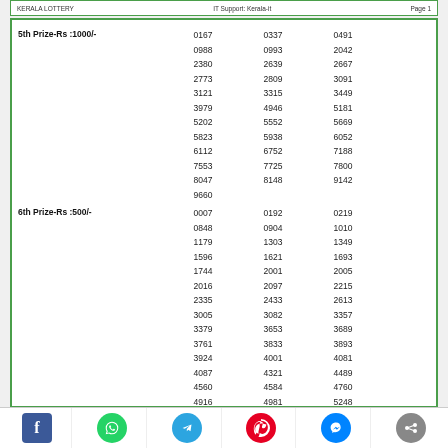5th Prize-Rs :1000/-  0167 0337 0491 0988 0993 2042 2380 2639 2667 2773 2809 3091 3121 3315 3449 3979 4946 5181 5202 5552 5669 5823 5938 6052 6112 6752 7188 7553 7725 7800 8047 8148 9142 9660
| Prize | N1 | N2 | N3 | N4 | N5 |
| --- | --- | --- | --- | --- | --- |
| 5th Prize-Rs :1000/- | 0167 | 0337 | 0491 | 0988 | 0993 |
|  | 2042 | 2380 | 2639 | 2667 | 2773 |
|  | 2809 | 3091 | 3121 | 3315 | 3449 |
|  | 3979 | 4946 | 5181 | 5202 | 5552 |
|  | 5669 | 5823 | 5938 | 6052 | 6112 |
|  | 6752 | 7188 | 7553 | 7725 | 7800 |
|  | 8047 | 8148 | 9142 | 9660 |  |
| 6th Prize-Rs :500/- | 0007 | 0192 | 0219 | 0848 | 0904 |
|  | 1010 | 1179 | 1303 | 1349 | 1596 |
|  | 1621 | 1693 | 1744 | 2001 | 2005 |
|  | 2016 | 2097 | 2215 | 2335 | 2433 |
|  | 2613 | 3005 | 3082 | 3357 | 3379 |
|  | 3653 | 3689 | 3761 | 3833 | 3893 |
|  | 3924 | 4001 | 4081 | 4087 | 4321 |
|  | 4489 | 4560 | 4584 | 4760 | 4916 |
|  | 4981 | 5248 | 5431 | 5474 | 6092 |
|  | 6324 | 6337 | 6365 | 6398 | 6509 |
|  | 6649 | 6751 | 6758 | 6819 | 6911 |
|  | 6963 | 7259 | 7661 | 7702 | 7890 |
|  | 7973 | 8026 | 8296 | 8322 | 8460 |
|  | 8576 | 8667 | 8834 | 8870 | 8890 |
|  | 8930 | 9303 | 9428 | 9463 | 9474 |
|  | 9187 | 9700 | 9718 | 9853 | 9678 |